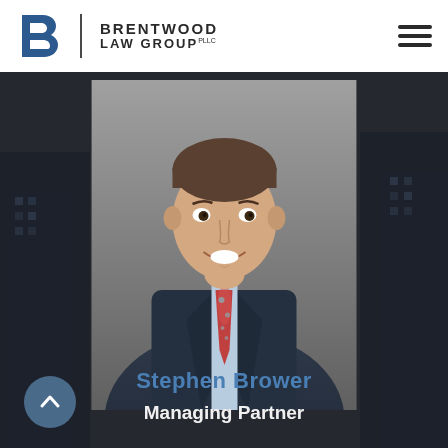Brentwood Law Group PLLC
[Figure (photo): Professional headshot of Stephen Brower, a man in a navy suit with a red patterned tie, smiling, against a gray background]
Stephen Brower
Managing Partner